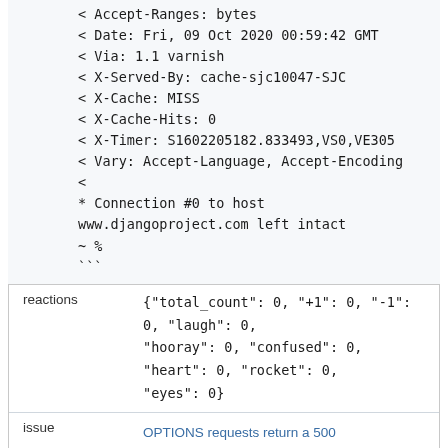< Accept-Ranges: bytes
< Date: Fri, 09 Oct 2020 00:59:42 GMT
< Via: 1.1 varnish
< X-Served-By: cache-sjc10047-SJC
< X-Cache: MISS
< X-Cache-Hits: 0
< X-Timer: S1602205182.833493,VS0,VE305
< Vary: Accept-Language, Accept-Encoding
<
* Connection #0 to host www.djangoproject.com left intact
~ %
```
reactions
{"total_count": 0, "+1": 0, "-1": 0, "laugh": 0, "hooray": 0, "confused": 0, "heart": 0, "rocket": 0, "eyes": 0}
issue
OPTIONS requests return a 500 error 717768441